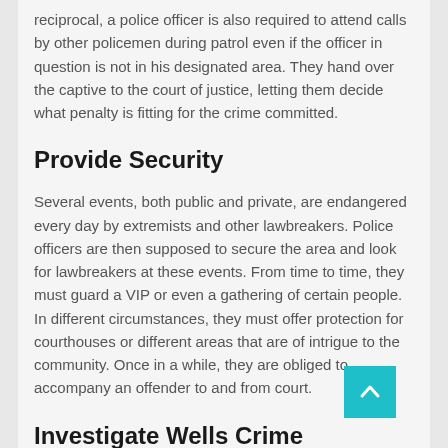reciprocal, a police officer is also required to attend calls by other policemen during patrol even if the officer in question is not in his designated area. They hand over the captive to the court of justice, letting them decide what penalty is fitting for the crime committed.
Provide Security
Several events, both public and private, are endangered every day by extremists and other lawbreakers. Police officers are then supposed to secure the area and look for lawbreakers at these events. From time to time, they must guard a VIP or even a gathering of certain people. In different circumstances, they must offer protection for courthouses or different areas that are of intrigue to the community. Once in a while, they are obliged to accompany an offender to and from court.
Investigate Wells Crime
Many police officers are required to investigate the crimes they come across. For instance, on the off chance that they